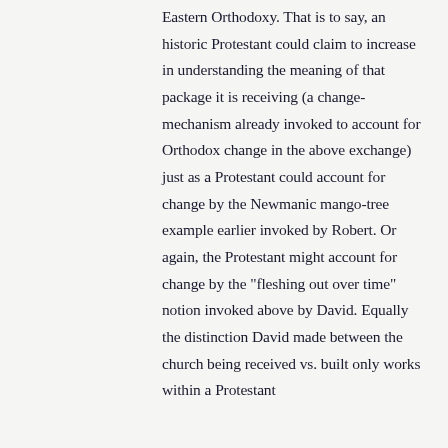Eastern Orthodoxy. That is to say, an historic Protestant could claim to increase in understanding the meaning of that package it is receiving (a change-mechanism already invoked to account for Orthodox change in the above exchange) just as a Protestant could account for change by the Newmanic mango-tree example earlier invoked by Robert. Or again, the Protestant might account for change by the "fleshing out over time" notion invoked above by David. Equally the distinction David made between the church being received vs. built only works within a Protestant